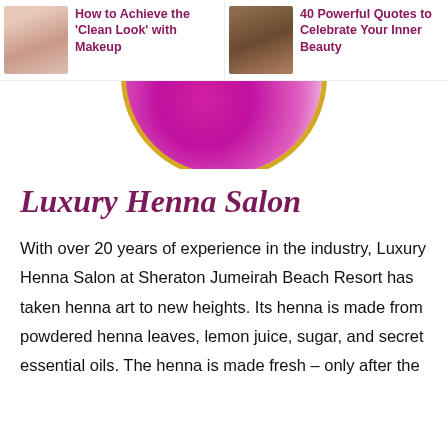How to Achieve the 'Clean Look' with Makeup
40 Powerful Quotes to Celebrate Your Inner Beauty
[Figure (photo): Circular image showing pink flowers/hydrangeas with floral background, bordered in gold, partially visible at top of page]
Luxury Henna Salon
With over 20 years of experience in the industry, Luxury Henna Salon at Sheraton Jumeirah Beach Resort has taken henna art to new heights. Its henna is made from powdered henna leaves, lemon juice, sugar, and secret essential oils. The henna is made fresh – only after the